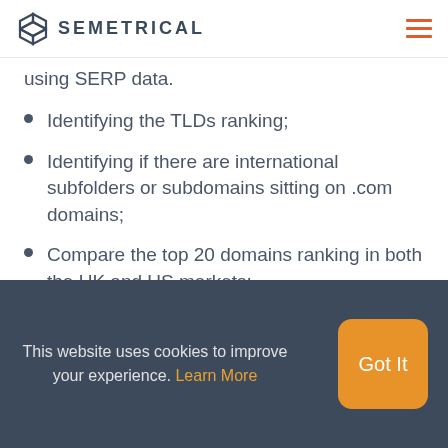SEMETRICAL
using SERP data.
Identifying the TLDs ranking;
Identifying if there are international subfolders or subdomains sitting on .com domains;
Compare the top 20 domains ranking in both the UK and US markets;
This website uses cookies to improve your experience. Learn More